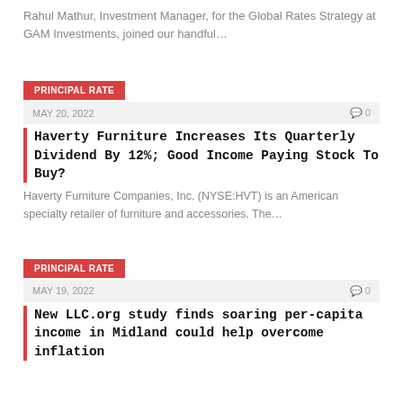Rahul Mathur, Investment Manager, for the Global Rates Strategy at GAM Investments, joined our handful...
PRINCIPAL RATE
MAY 20, 2022
Haverty Furniture Increases Its Quarterly Dividend By 12%; Good Income Paying Stock To Buy?
Haverty Furniture Companies, Inc. (NYSE:HVT) is an American specialty retailer of furniture and accessories. The...
PRINCIPAL RATE
MAY 19, 2022
New LLC.org study finds soaring per-capita income in Midland could help overcome inflation